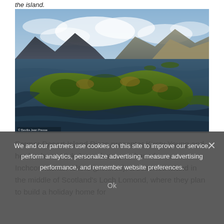the island.
[Figure (photo): Aerial photograph of Inchconnachan Island, a forested island in the middle of Loch Lomond, Scotland, surrounded by dark blue water with mountains and cloudy sky in the background. Photo credit: Bavella Jean Presse.]
Former Desert Island Discs presenter Kirsty Young and her husband Nick Jones have purchased Inchconnachan Island (pictured), a deserted island in the middle of Scotland's Loch Lomond, where they plan to build a holiday home for
We and our partners use cookies on this site to improve our service, perform analytics, personalize advertising, measure advertising performance, and remember website preferences.
Ok